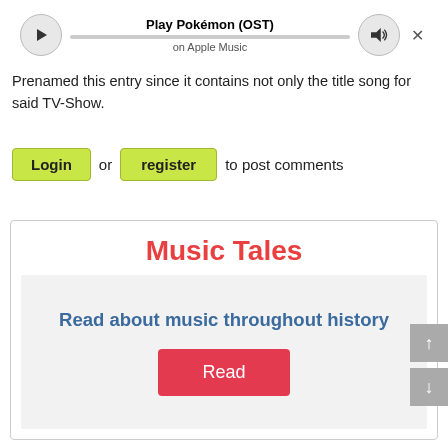[Figure (screenshot): Music player bar showing Play Pokémon (OST) on Apple Music with play button, progress bar, volume button, and close button]
Prenamed this entry since it contains not only the title song for said TV-Show.
Login or register to post comments
Music Tales
Read about music throughout history
Read